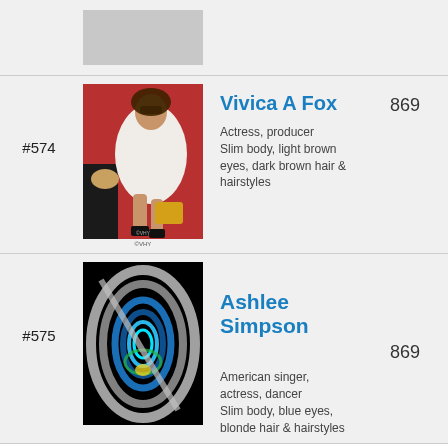[Figure (photo): Partial top row showing a photo placeholder (grey area)]
#574
[Figure (photo): Vivica A Fox glamour photo in white fur coat on red background with small dog, gold handbag]
Vivica A Fox
869
Actress, producer
Slim body, light brown eyes, dark brown hair & hairstyles
#575
[Figure (photo): Abstract lens/oval shape with blue and green iridescent rings on black background]
Ashlee Simpson
869
American singer, actress, dancer
Slim body, blue eyes, blonde hair & hairstyles